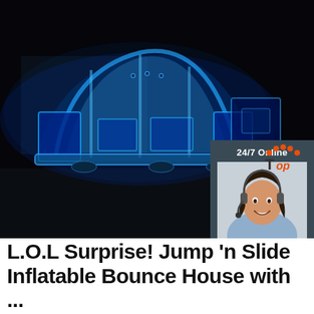[Figure (photo): Night photo of a large inflatable bounce house structure with bright blue LED lighting, set against a dark background. An overlay panel in the upper right shows a customer service representative with headset, text '24/7 Online', 'Click here for free chat!', and an orange QUOTATION button.]
L.O.L Surprise! Jump 'n Slide Inflatable Bounce House with ...